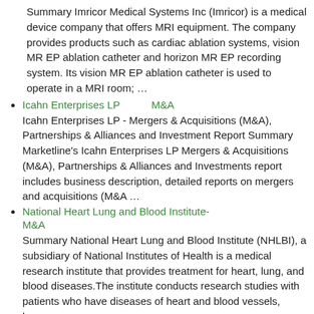Summary Imricor Medical Systems Inc (Imricor) is a medical device company that offers MRI equipment. The company provides products such as cardiac ablation systems, vision MR EP ablation catheter and horizon MR EP recording system. Its vision MR EP ablation catheter is used to operate in a MRI room; …
Icahn Enterprises LP　　　M&A　　　　　　　　　　 [link] Icahn Enterprises LP - Mergers & Acquisitions (M&A), Partnerships & Alliances and Investment Report Summary Marketline's Icahn Enterprises LP Mergers & Acquisitions (M&A), Partnerships & Alliances and Investments report includes business description, detailed reports on mergers and acquisitions (M&A …
National Heart Lung and Blood Institute-　　　　　　　　M&A　　　　 [link] Summary National Heart Lung and Blood Institute (NHLBI), a subsidiary of National Institutes of Health is a medical research institute that provides treatment for heart, lung, and blood diseases.The institute conducts research studies with patients who have diseases of heart and blood vessels, lungs …
Shangri-La Hotels (Malaysia) Berhad　　　SWOT　　　　　　 [link] Shangri-La Hotels (Malaysia) Berhad - Strategy, SWOT and